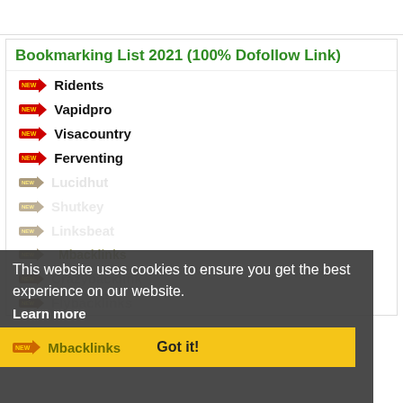Bookmarking List 2021 (100% Dofollow Link)
Ridents
Vapidpro
Visacountry
Ferventing
Lucidhut
Shutkey
Linksbeat
Mbacklinks
Crazybacklink
Flybacklinks
This website uses cookies to ensure you get the best experience on our website.
Learn more
Got it!